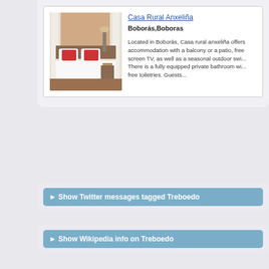Casa Rural Anxeliña
Boborás,Boboras
[Figure (photo): Bedroom interior with white bed, red pillows, white curtains, wooden floor]
Located in Boborás, Casa rural anxeliña offers accommodation with a balcony or a patio, free screen TV, as well as a seasonal outdoor swi... There is a fully equipped private bathroom wi... free toiletries. Guests...
▶ Show Twitter messages tagged Treboedo
▶ Show Wikipedia info on Treboedo